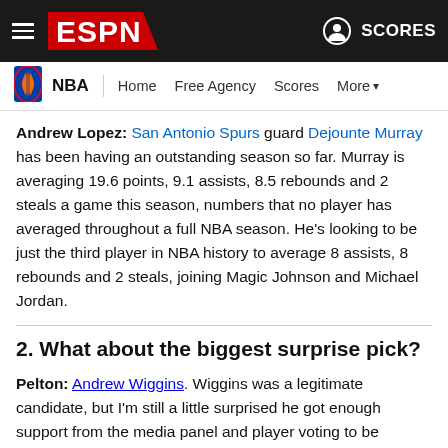ESPN — NBA | Home | Free Agency | Scores | More
Andrew Lopez: San Antonio Spurs guard Dejounte Murray has been having an outstanding season so far. Murray is averaging 19.6 points, 9.1 assists, 8.5 rebounds and 2 steals a game this season, numbers that no player has averaged throughout a full NBA season. He's looking to be just the third player in NBA history to average 8 assists, 8 rebounds and 2 steals, joining Magic Johnson and Michael Jordan.
2. What about the biggest surprise pick?
Pelton: Andrew Wiggins. Wiggins was a legitimate candidate, but I'm still a little surprised he got enough support from the media panel and player voting to be chosen a starter ahead of Green and Gobert -- both of whom finished better than Wiggins